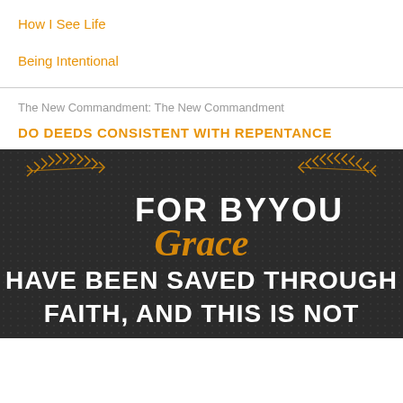How I See Life
Being Intentional
The New Commandment: The New Commandment
DO DEEDS CONSISTENT WITH REPENTANCE
[Figure (illustration): Dark background inspirational quote image with decorative gold arrow/leaf border. Text reads: FOR BY Grace YOU HAVE BEEN SAVED THROUGH FAITH, AND THIS IS NOT — with 'Grace' in gold script font and remaining text in white bold caps.]